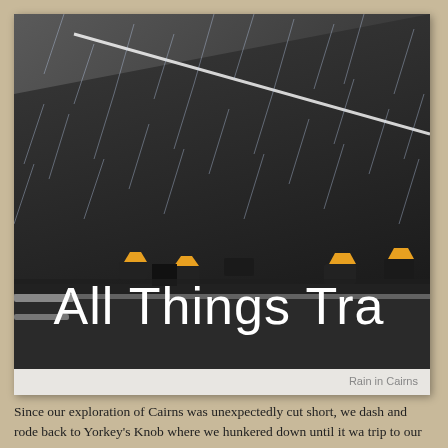[Figure (photo): Photo of a rainy scene at what appears to be a dock or wharf in Cairns, showing wet pavement, yellow and black bollards/barriers, with overlaid white text reading 'All Things Tra' (partially visible). The image is set in a light gray photo frame.]
Rain in Cairns
Since our exploration of Cairns was unexpectedly cut short, we dash and rode back to Yorkey's Knob where we hunkered down until it wa trip to our cruise ship.